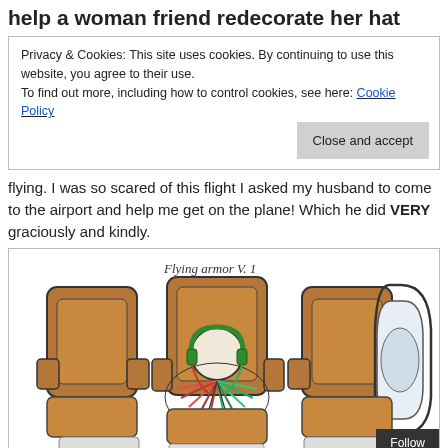help a woman friend redecorate her hat
Privacy & Cookies: This site uses cookies. By continuing to use this website, you agree to their use.
To find out more, including how to control cookies, see here: Cookie Policy
Close and accept
flying. I was so scared of this flight I asked my husband to come to the airport and help me get on the plane! Which he did VERY graciously and kindly.
[Figure (illustration): Hand-drawn illustration titled 'Flying armor V. 1' showing an aerial/top-down view of airplane seats. A person sits in the center seat wearing green headphones and a colorful feathered or ruffled garment. Brown airplane seats are visible on either side. An airplane window is sketch-drawn on the right side.]
Follow